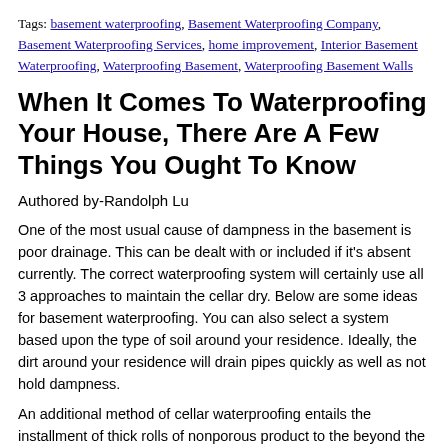Tags: basement waterproofing, Basement Waterproofing Company, Basement Waterproofing Services, home improvement, Interior Basement Waterproofing, Waterproofing Basement, Waterproofing Basement Walls
When It Comes To Waterproofing Your House, There Are A Few Things You Ought To Know
Authored by-Randolph Lu
One of the most usual cause of dampness in the basement is poor drainage. This can be dealt with or included if it's absent currently. The correct waterproofing system will certainly use all 3 approaches to maintain the cellar dry. Below are some ideas for basement waterproofing. You can also select a system based upon the type of soil around your residence. Ideally, the dirt around your residence will drain pipes quickly as well as not hold dampness.
An additional method of cellar waterproofing entails the installment of thick rolls of nonporous product to the beyond the